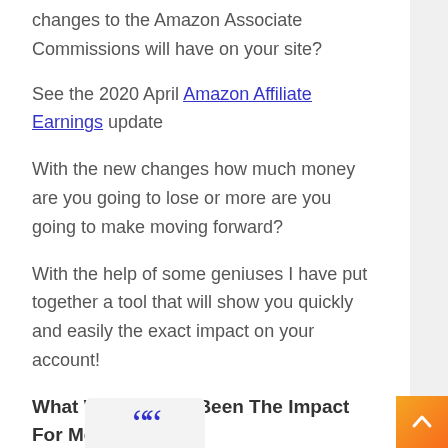Want to know the EXACT impact the changes to the Amazon Associate Commissions will have on your site?
See the 2020 April Amazon Affiliate Earnings update
With the new changes how much money are you going to lose or more are you going to make moving forward?
With the help of some geniuses I have put together a tool that will show you quickly and easily the exact impact on your account!
What Would Have Been The Impact For Me?
[Figure (other): Large blue quotation marks at the bottom of the page inside a light grey rounded box]